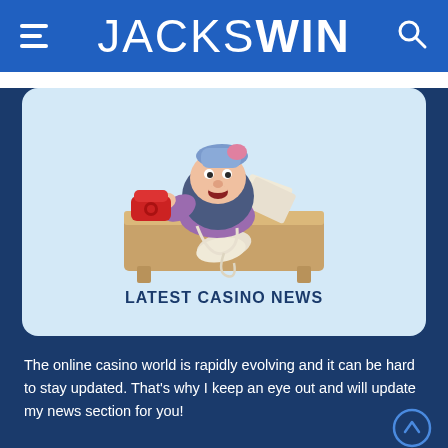JACKSWIN
[Figure (illustration): Cartoon character of a bearded man with a pink beret hat sitting behind a wooden desk, holding papers flying around, with a red telephone on the desk]
LATEST CASINO NEWS
The online casino world is rapidly evolving and it can be hard to stay updated. That's why I keep an eye out and will update my news section for you!